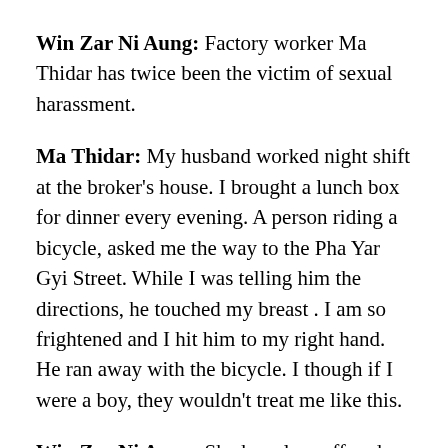Win Zar Ni Aung: Factory worker Ma Thidar has twice been the victim of sexual harassment.
Ma Thidar: My husband worked night shift at the broker's house. I brought a lunch box for dinner every evening. A person riding a bicycle, asked me the way to the Pha Yar Gyi Street. While I was telling him the directions, he touched my breast . I am so frightened and I hit him to my right hand. He ran away with the bicycle. I though if I were a boy, they wouldn't treat me like this.
Win Zar Ni Aung: She has also suffered abuse at work and on the bus.
Ma Thidar: That day I was late to work at the garment factory. I saw a man touching himself